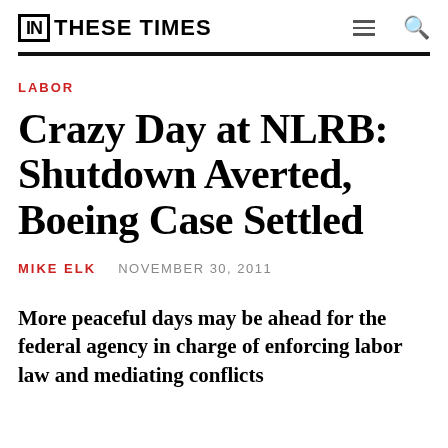IN THESE TIMES
LABOR
Crazy Day at NLRB: Shutdown Averted, Boeing Case Settled
MIKE ELK   NOVEMBER 30, 2011
More peaceful days may be ahead for the federal agency in charge of enforcing labor law and mediating conflicts